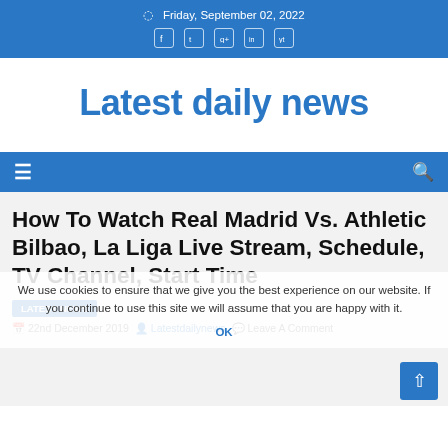Friday, September 02, 2022
Latest daily news
≡  🔍
How To Watch Real Madrid Vs. Athletic Bilbao, La Liga Live Stream, Schedule, TV Channel, Start Time
We use cookies to ensure that we give you the best experience on our website. If you continue to use this site we will assume that you are happy with it. OK
Latest News
22nd December 2019  Latestdailynews  Leave A Comment